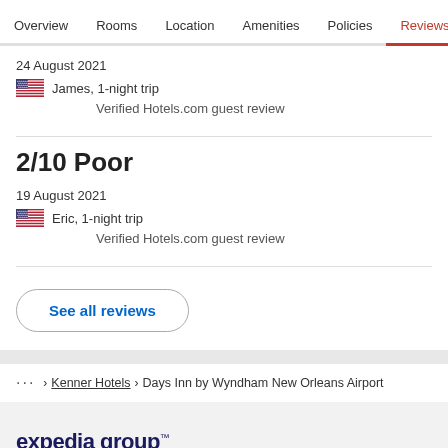Overview  Rooms  Location  Amenities  Policies  Reviews
24 August 2021
James, 1-night trip
Verified Hotels.com guest review
2/10 Poor
19 August 2021
Eric, 1-night trip
Verified Hotels.com guest review
See all reviews
... > Kenner Hotels > Days Inn by Wyndham New Orleans Airport
[Figure (logo): expedia group logo in dark navy blue]